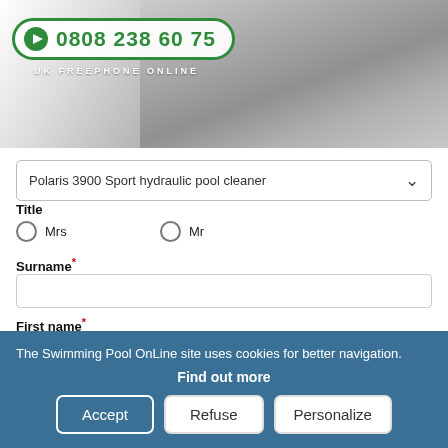[Figure (photo): Black and white photo of hands using a calculator with papers, overlaid with a green phone badge showing 0808 238 60 75 and text UK FREEPHONE ONLINE]
Polaris 3900 Sport hydraulic pool cleaner (dropdown)
Title
Mrs
Mr
Surname*
First name*
Business Name
The Swimming Pool OnLine site uses cookies for better navigation. Find out more
Accept
Refuse
Personalize
Address